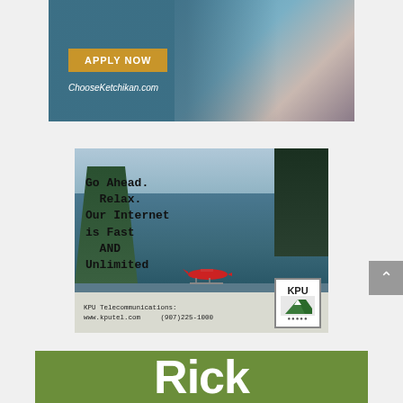[Figure (illustration): Advertisement banner for ChooseKetchikan.com showing a woman working on a laptop outdoors near water, with a gold 'APPLY NOW' button and the URL ChooseKetchikan.com in white text.]
[Figure (illustration): Advertisement for KPU Telecommunications showing an aerial view of a floatplane on a calm lake surrounded by forested hills. Text reads: 'Go Ahead. Relax. Our Internet is Fast AND Unlimited. KPU Telecommunications: www.kputel.com (907)225-1000' with the KPU logo.]
[Figure (illustration): Partial view of a green advertisement banner showing large white text beginning with 'Rick' (partially cropped at bottom of page).]